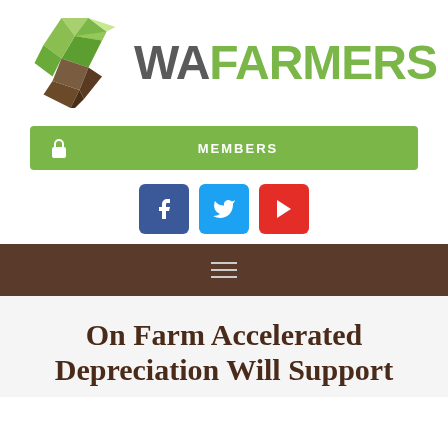[Figure (logo): WAFarmers logo with geometric diamond shape in greens and browns, and text WAFARMERS where WA is dark grey and FARMERS is green]
[Figure (infographic): Green members bar with lock icon and MEMBERS text]
[Figure (infographic): Social media buttons: Facebook (blue), Twitter (light blue), YouTube (red)]
[Figure (infographic): Brown navigation bar with hamburger menu icon]
On Farm Accelerated Depreciation Will Support